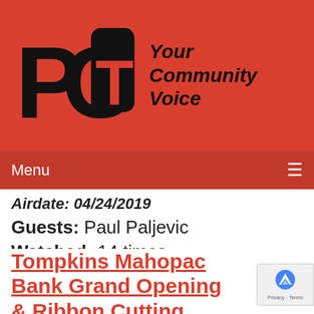[Figure (logo): PCTV logo with stylized PC and TV letters, red background, with tagline 'Your Community Voice' in bold italic]
Menu ≡
Airdate: 04/24/2019
Guests: Paul Paljevic
Watched: 14 times
[Figure (photo): Thumbnail photo of a ribbon-cutting ceremony with a group of people indoors, green ribbon visible]
Tompkins Mahopac Bank Grand Opening & Ribbon Cutting